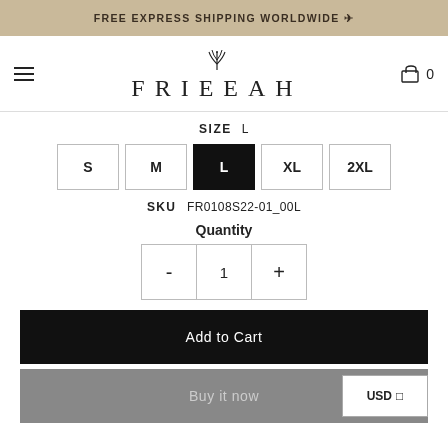FREE EXPRESS SHIPPING WORLDWIDE →
[Figure (logo): FRIEEAH brand logo with plant icon above text]
SIZE  L
S  M  L  XL  2XL (size selector buttons, L is selected/active)
SKU   FR0108S22-01_00L
Quantity
-  1  + (quantity selector)
Add to Cart
Buy it now
USD